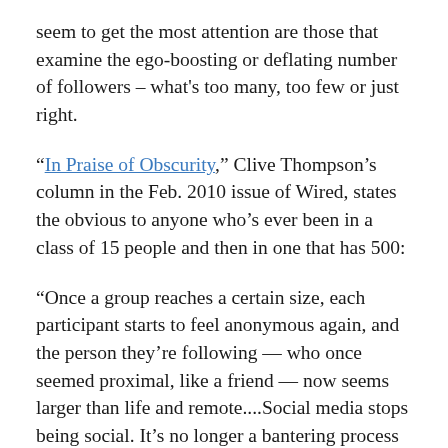seem to get the most attention are those that examine the ego-boosting or deflating number of followers – what's too many, too few or just right.
"In Praise of Obscurity," Clive Thompson's column in the Feb. 2010 issue of Wired, states the obvious to anyone who's ever been in a class of 15 people and then in one that has 500:
"Once a group reaches a certain size, each participant starts to feel anonymous again, and the person they're following — who once seemed proximal, like a friend — now seems larger than life and remote....Social media stops being social. It's no longer a bantering process